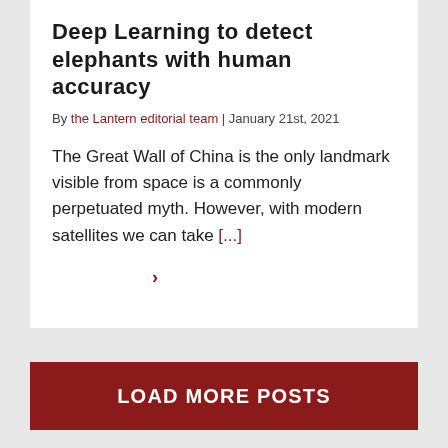Deep Learning to detect elephants with human accuracy
By the Lantern editorial team | January 21st, 2021
The Great Wall of China is the only landmark visible from space is a commonly perpetuated myth. However, with modern satellites we can take [...]
>
LOAD MORE POSTS